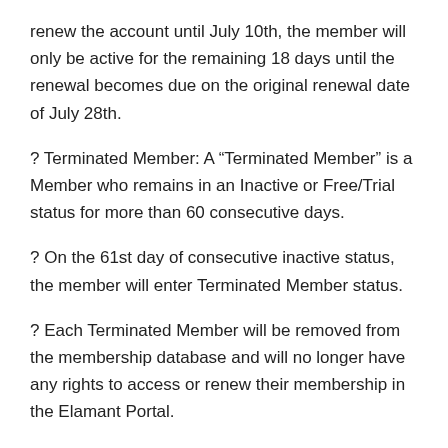renew the account until July 10th, the member will only be active for the remaining 18 days until the renewal becomes due on the original renewal date of July 28th.
? Terminated Member: A “Terminated Member” is a Member who remains in an Inactive or Free/Trial status for more than 60 consecutive days.
? On the 61st day of consecutive inactive status, the member will enter Terminated Member status.
? Each Terminated Member will be removed from the membership database and will no longer have any rights to access or renew their membership in the Elamant Portal.
? If a Terminated Member wishes to reactivate their account, they must enroll again as a new Member.